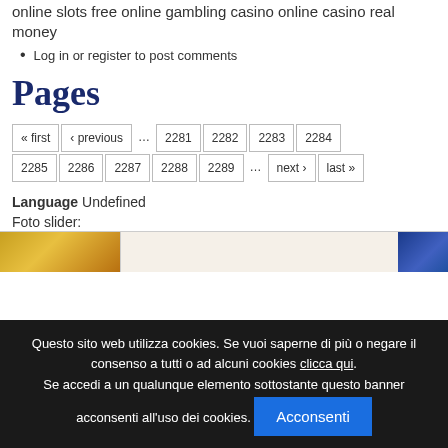online slots free online gambling casino online casino real money
Log in or register to post comments
Pages
« first ‹ previous … 2281 2282 2283 2284 2285 2286 2287 2288 2289 … next › last »
Language Undefined
Foto slider:
[Figure (photo): Image strip showing partial images — a gold/yellow toned image on the left and a blue circular image on the right]
Questo sito web utilizza cookies. Se vuoi saperne di più o negare il consenso a tutti o ad alcuni cookies clicca qui. Se accedi a un qualunque elemento sottostante questo banner acconsenti all'uso dei cookies. Acconsenti